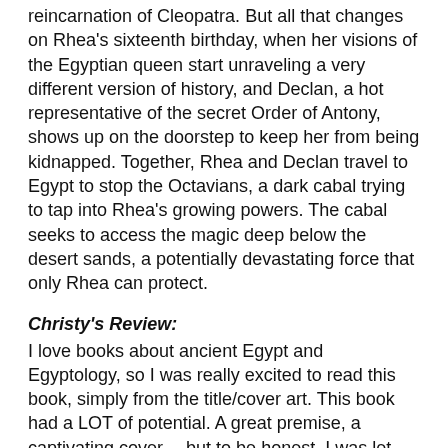reincarnation of Cleopatra. But all that changes on Rhea's sixteenth birthday, when her visions of the Egyptian queen start unraveling a very different version of history, and Declan, a hot representative of the secret Order of Antony, shows up on the doorstep to keep her from being kidnapped. Together, Rhea and Declan travel to Egypt to stop the Octavians, a dark cabal trying to tap into Rhea's growing powers. The cabal seeks to access the magic deep below the desert sands, a potentially devastating force that only Rhea can protect.
Christy's Review:
I love books about ancient Egypt and Egyptology, so I was really excited to read this book, simply from the title/cover art. This book had a LOT of potential. A great premise, a captivating cover… but to be honest, I was let down by the story. There was a lot going on in. Tons of subplots, tons of characters and intersecting universes (too many, in my opinion). Overall, I loved the concept and I really liked Rhea's character. But there were too many unanswered questions and false starts in the plot line, and the climax of the book was far too short. In fact, the entire book was far